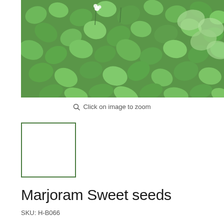[Figure (photo): Close-up photo of marjoram/oregano plant with small round green leaves and tiny white flowers]
Click on image to zoom
[Figure (thumbnail): Small thumbnail image of the product, shown in a green-bordered square frame]
Marjoram Sweet seeds
SKU: H-B066
Price: $1.99 or 4 interest-free payments of $0.50 with afterpay